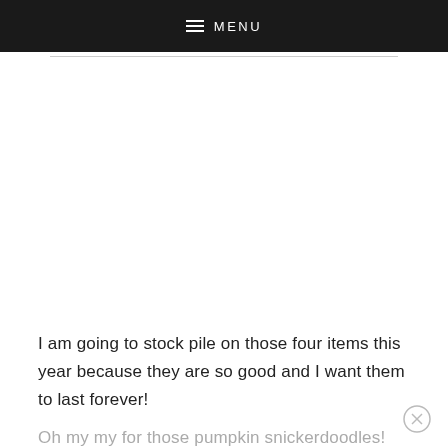≡ MENU
I am going to stock pile on those four items this year because they are so good and I want them to last forever!
Oh my my for these pumpkin snickerdoodles!